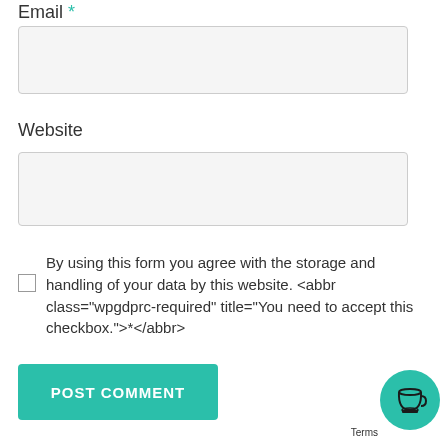Email *
[Figure (screenshot): Empty text input field for Email]
Website
[Figure (screenshot): Empty text input field for Website]
By using this form you agree with the storage and handling of your data by this website. <abbr class="wpgdprc-required" title="You need to accept this checkbox.">*</abbr>
[Figure (screenshot): POST COMMENT button in teal color]
[Figure (illustration): Teal circular button with coffee cup icon]
Terms